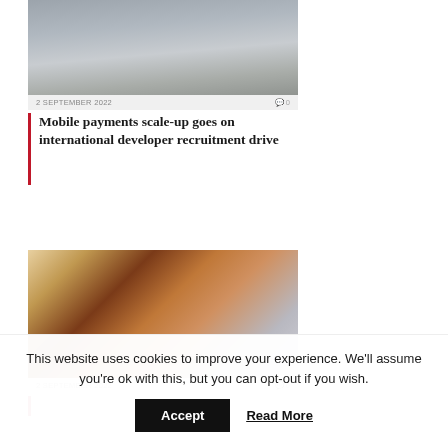[Figure (photo): Group photo of several men standing together, team photo for a tech company]
2 SEPTEMBER 2022   💬 0
Mobile payments scale-up goes on international developer recruitment drive
[Figure (photo): Young woman smiling while looking at a mobile phone, wearing an orange/red top]
2 SEPTEMBER 2022   💬 0
This website uses cookies to improve your experience. We'll assume you're ok with this, but you can opt-out if you wish.